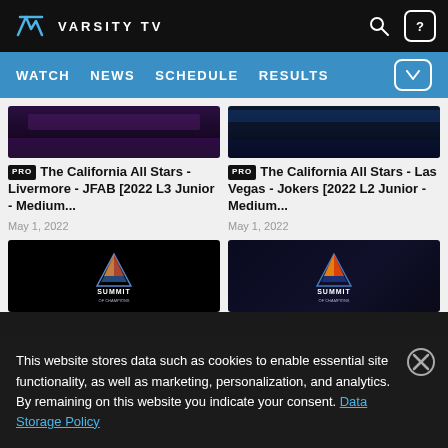VARSITY TV
WATCH NEWS SCHEDULE RESULTS
[Figure (screenshot): Thumbnail of cheerleading event - dark crowd scene, left card]
PRO The California All Stars - Livermore - JFAB [2022 L3 Junior - Medium...
May 1, 2022
[Figure (screenshot): Thumbnail of cheerleading event - dark arena with blue lights, right card]
PRO The California All Stars - Las Vegas - Jokers [2022 L2 Junior - Medium...
May 1, 2022
[Figure (screenshot): Summit cheerleading logo on black background, left card]
[Figure (screenshot): Summit cheerleading logo with orange flame on dark background, right card]
This website stores data such as cookies to enable essential site functionality, as well as marketing, personalization, and analytics. By remaining on this website you indicate your consent. Data Storage Policy